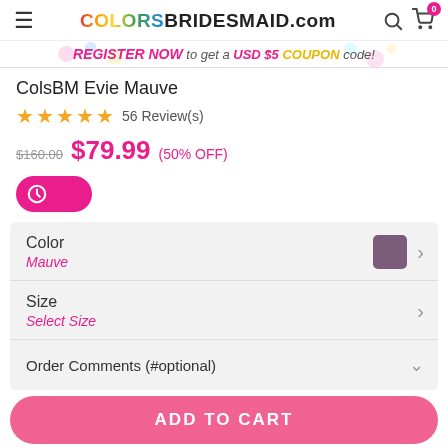COLORSBRIDESMAID.com
REGISTER NOW to get a USD $5 COUPON code!
ColsBM Evie Mauve
★★★★★ 56 Review(s)
$160.00  $79.99  (50% OFF)
Color: Mauve
Size: Select Size
Order Comments (#optional)
ADD TO CART
ORDER SWATCH